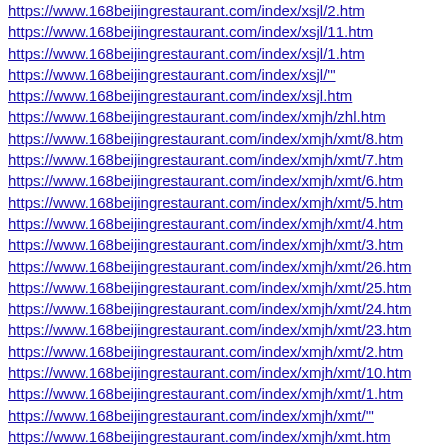https://www.168beijingrestaurant.com/index/xsjl/2.htm
https://www.168beijingrestaurant.com/index/xsjl/11.htm
https://www.168beijingrestaurant.com/index/xsjl/1.htm
https://www.168beijingrestaurant.com/index/xsjl/'
https://www.168beijingrestaurant.com/index/xsjl.htm
https://www.168beijingrestaurant.com/index/xmjh/zhl.htm
https://www.168beijingrestaurant.com/index/xmjh/xmt/8.htm
https://www.168beijingrestaurant.com/index/xmjh/xmt/7.htm
https://www.168beijingrestaurant.com/index/xmjh/xmt/6.htm
https://www.168beijingrestaurant.com/index/xmjh/xmt/5.htm
https://www.168beijingrestaurant.com/index/xmjh/xmt/4.htm
https://www.168beijingrestaurant.com/index/xmjh/xmt/3.htm
https://www.168beijingrestaurant.com/index/xmjh/xmt/26.htm
https://www.168beijingrestaurant.com/index/xmjh/xmt/25.htm
https://www.168beijingrestaurant.com/index/xmjh/xmt/24.htm
https://www.168beijingrestaurant.com/index/xmjh/xmt/23.htm
https://www.168beijingrestaurant.com/index/xmjh/xmt/2.htm
https://www.168beijingrestaurant.com/index/xmjh/xmt/10.htm
https://www.168beijingrestaurant.com/index/xmjh/xmt/1.htm
https://www.168beijingrestaurant.com/index/xmjh/xmt/'
https://www.168beijingrestaurant.com/index/xmjh/xmt.htm
https://www.168beijingrestaurant.com/index/xmjh/xb.htm
https://www.168beijingrestaurant.com/index/xmjh/hlhb.htm
https://www.168beijingrestaurant.com/index/xmjh/gbds/5.htm
https://www.168beijingrestaurant.com/index/xmjh/gbds/4.htm